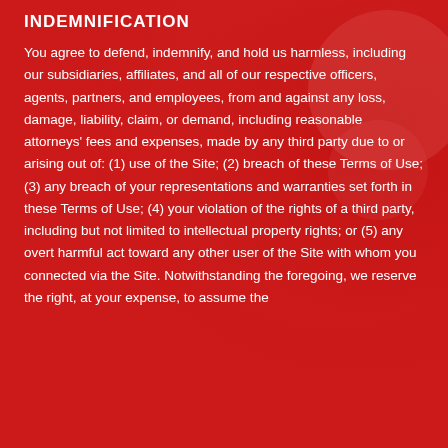INDEMNIFICATION
You agree to defend, indemnify, and hold us harmless, including our subsidiaries, affiliates, and all of our respective officers, agents, partners, and employees, from and against any loss, damage, liability, claim, or demand, including reasonable attorneys' fees and expenses, made by any third party due to or arising out of: (1) use of the Site; (2) breach of these Terms of Use; (3) any breach of your representations and warranties set forth in these Terms of Use; (4) your violation of the rights of a third party, including but not limited to intellectual property rights; or (5) any overt harmful act toward any other user of the Site with whom you connected via the Site. Notwithstanding the foregoing, we reserve the right, at your expense, to assume the